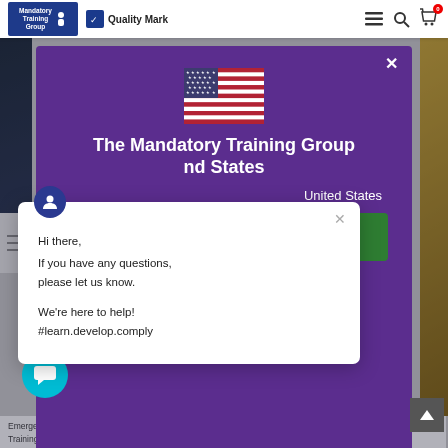[Figure (screenshot): Website header with Mandatory Training Group and Quality Mark logos, navigation icons including hamburger menu, search, and shopping cart with 0 badge]
[Figure (screenshot): Purple modal dialog with US flag emoji, title 'The Mandatory Training Group' and subtitle 'United States', a green button (partially visible 'W'), and 'Change shipping country' link]
Hi there,
If you have any questions, please let us know.

We're here to help!
#learn.develop.comply
Emergency First Aid at Work - Level 3 - Online Training Course - CPDUK Accredited. Welcome to The Mandatory Training Group's online Emergency First Aid at Work...